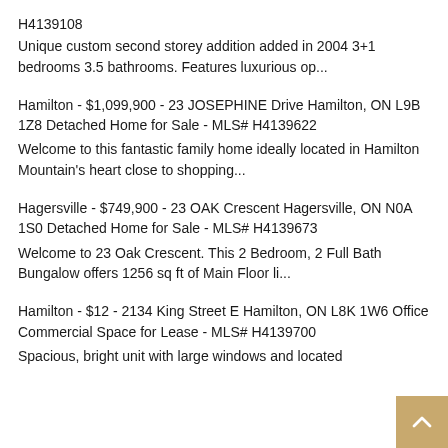H4139108
Unique custom second storey addition added in 2004 3+1 bedrooms 3.5 bathrooms. Features luxurious op...
Hamilton - $1,099,900 - 23 JOSEPHINE Drive Hamilton, ON L9B 1Z8 Detached Home for Sale - MLS# H4139622
Welcome to this fantastic family home ideally located in Hamilton Mountain's heart close to shopping...
Hagersville - $749,900 - 23 OAK Crescent Hagersville, ON N0A 1S0 Detached Home for Sale - MLS# H4139673
Welcome to 23 Oak Crescent. This 2 Bedroom, 2 Full Bath Bungalow offers 1256 sq ft of Main Floor li...
Hamilton - $12 - 2134 King Street E Hamilton, ON L8K 1W6 Office Commercial Space for Lease - MLS# H4139700
Spacious, bright unit with large windows and located